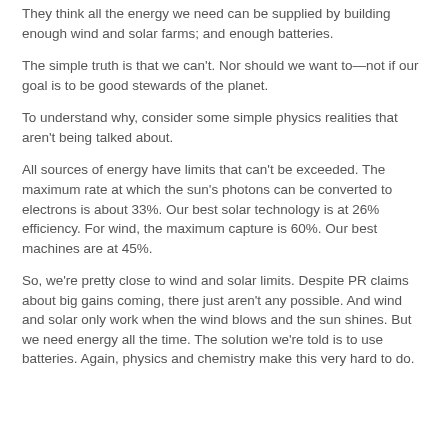They think all the energy we need can be supplied by building enough wind and solar farms; and enough batteries.
The simple truth is that we can't. Nor should we want to—not if our goal is to be good stewards of the planet.
To understand why, consider some simple physics realities that aren't being talked about.
All sources of energy have limits that can't be exceeded. The maximum rate at which the sun's photons can be converted to electrons is about 33%. Our best solar technology is at 26% efficiency. For wind, the maximum capture is 60%. Our best machines are at 45%.
So, we're pretty close to wind and solar limits. Despite PR claims about big gains coming, there just aren't any possible. And wind and solar only work when the wind blows and the sun shines. But we need energy all the time. The solution we're told is to use batteries. Again, physics and chemistry make this very hard to do.